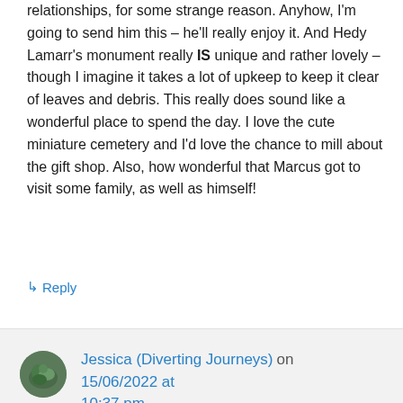relationships, for some strange reason. Anyhow, I'm going to send him this – he'll really enjoy it. And Hedy Lamarr's monument really IS unique and rather lovely – though I imagine it takes a lot of upkeep to keep it clear of leaves and debris. This really does sound like a wonderful place to spend the day. I love the cute miniature cemetery and I'd love the chance to mill about the gift shop. Also, how wonderful that Marcus got to visit some family, as well as himself!
↳ Reply
Jessica (Diverting Journeys) on 15/06/2022 at 10:37 pm